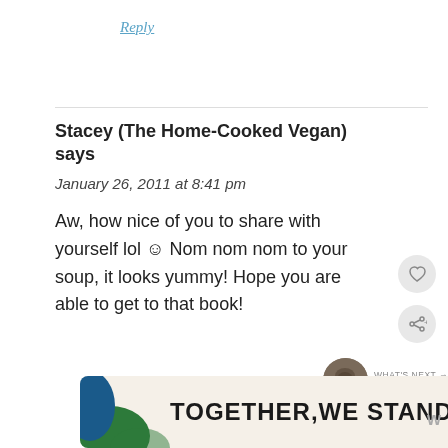Reply
Stacey (The Home-Cooked Vegan) says
January 26, 2011 at 8:41 pm
Aw, how nice of you to share with yourself lol ☺ Nom nom nom to your soup, it looks yummy! Hope you are able to get to that book!
Reply
[Figure (other): Advertisement banner reading TOGETHER,WE STAND with colorful abstract shapes]
[Figure (other): Heart/like button (circular grey button with heart icon)]
[Figure (other): Share button (circular grey button with share icon)]
[Figure (other): What's Next thumbnail showing Single Lady]